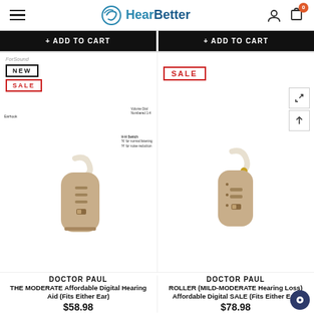HearBetter — navigation header with hamburger menu, logo, user icon, and cart (0)
+ ADD TO CART
+ ADD TO CART
[Figure (photo): Hearing aid device labeled with: Earhook, Volume Dial Numbered 1-4, H-H Switch ('N' for normal listening, 'H' for noise reduction), Battery Compartment (On/Off Switch). Badges: NEW, SALE. Brand: ForSound.]
[Figure (photo): Hearing aid device (BTE style) with SALE badge. Action buttons for zoom and scroll on the right side.]
DOCTOR PAUL
THE MODERATE Affordable Digital Hearing Aid (Fits Either Ear)
$58.98
DOCTOR PAUL
ROLLER (MILD-MODERATE Hearing Loss) Affordable Digital SALE (Fits Either Ear)
$78.98